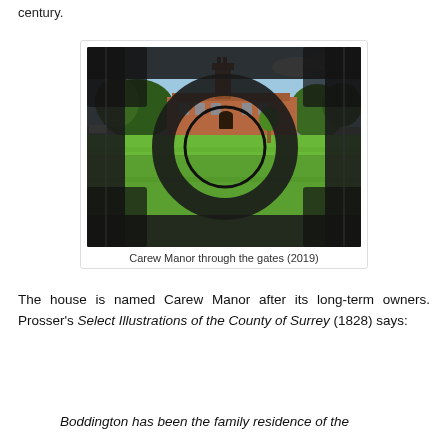century.
[Figure (photo): Photograph of Carew Manor viewed through ornate iron gates, showing a large red-brick building with a clock tower, green lawn in the foreground, and trees surrounding the building. The dark iron gate frame and circular ornament dominate the foreground. Taken in 2019.]
Carew Manor through the gates (2019)
The house is named Carew Manor after its long-term owners. Prosser's Select Illustrations of the County of Surrey (1828) says:
Boddington has been the family residence of the